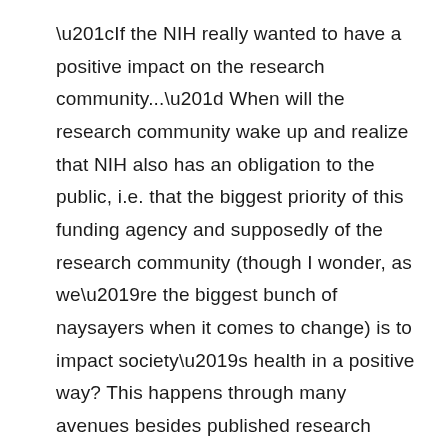“If the NIH really wanted to have a positive impact on the research community...” When will the research community wake up and realize that NIH also has an obligation to the public, i.e. that the biggest priority of this funding agency and supposedly of the research community (though I wonder, as we’re the biggest bunch of naysayers when it comes to change) is to impact society’s health in a positive way? This happens through many avenues besides published research articles. The translation of science from the bench to the bedside (and beyond)